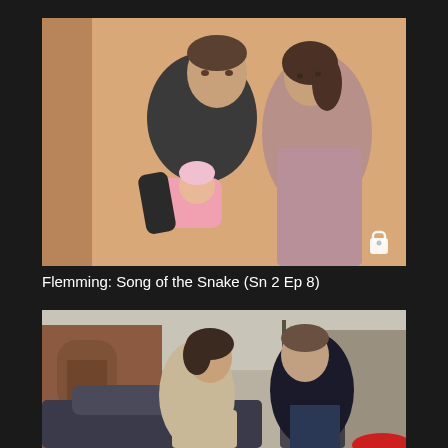[Figure (photo): A man in a dark blazer holds a newborn baby in pink clothing while a woman in a mauve/lilac top leans behind him against a wall with warm orange/tan tones in the background.]
Flemming: Song of the Snake (Sn 2 Ep 8)
[Figure (photo): A woman with short dark hair and a man in a dark coat face each other outdoors near a car, with brick buildings and bare trees in the background.]